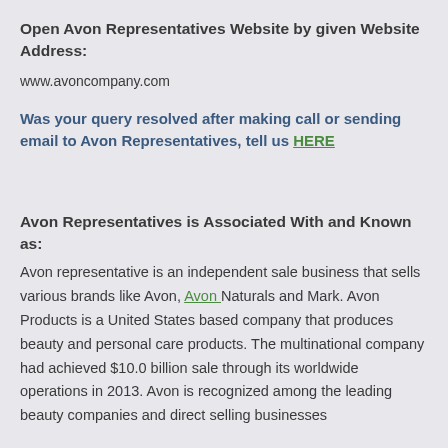Open Avon Representatives Website by given Website Address:
www.avoncompany.com
Was your query resolved after making call or sending email to Avon Representatives, tell us HERE
Avon Representatives is Associated With and Known as:
Avon representative is an independent sale business that sells various brands like Avon, Avon Naturals and Mark. Avon Products is a United States based company that produces beauty and personal care products. The multinational company had achieved $10.0 billion sale through its worldwide operations in 2013. Avon is recognized among the leading beauty companies and direct selling businesses